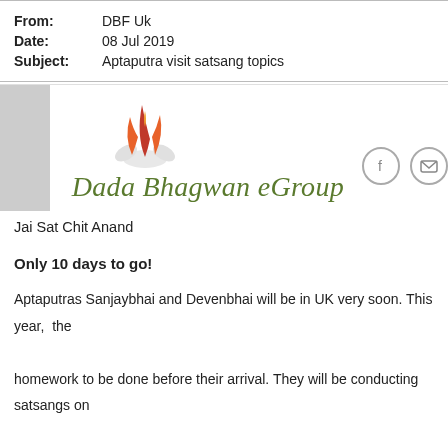| From: | DBF Uk |
| Date: | 08 Jul 2019 |
| Subject: | Aptaputra visit satsang topics |
[Figure (logo): Dada Bhagwan eGroup logo with flame/lotus icon in orange/red, green italic text 'Dada Bhagwan eGroup', Facebook icon circle and email icon circle]
Jai Sat Chit Anand
Only 10 days to go!
Aptaputras Sanjaybhai and Devenbhai will be in UK very soon. This year,  the homework to be done before their arrival. They will be conducting satsangs on different topics at different centres. Please click on the links below to view the topics at the different centres.